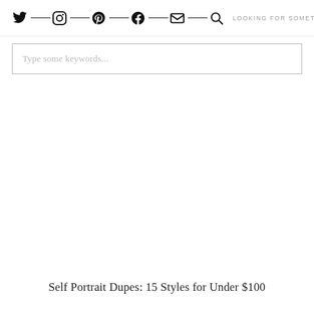LOOKING FOR SOMETHING?
Type some keywords...
Self Portrait Dupes: 15 Styles for Under $100